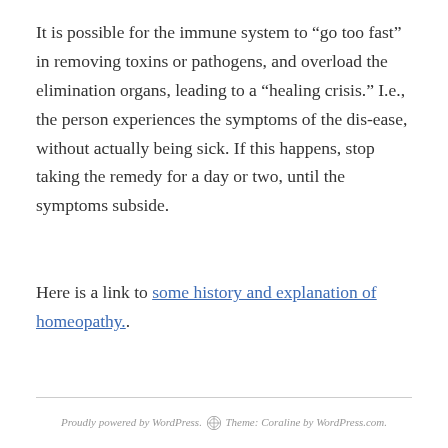It is possible for the immune system to “go too fast” in removing toxins or pathogens, and overload the elimination organs, leading to a “healing crisis.” I.e., the person experiences the symptoms of the dis-ease, without actually being sick. If this happens, stop taking the remedy for a day or two, until the symptoms subside.
Here is a link to some history and explanation of homeopathy..
Proudly powered by WordPress.  Theme: Coraline by WordPress.com.